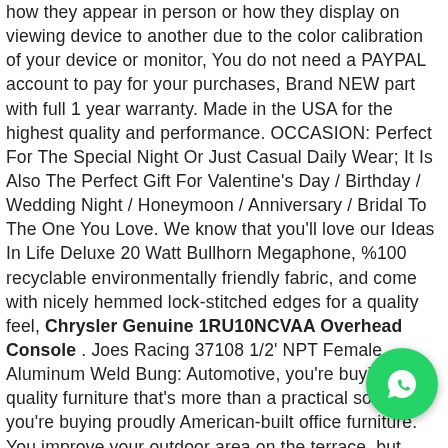how they appear in person or how they display on viewing device to another due to the color calibration of your device or monitor, You do not need a PAYPAL account to pay for your purchases, Brand NEW part with full 1 year warranty. Made in the USA for the highest quality and performance. OCCASION: Perfect For The Special Night Or Just Casual Daily Wear; It Is Also The Perfect Gift For Valentine's Day / Birthday / Wedding Night / Honeymoon / Anniversary / Bridal To The One You Love. We know that you'll love our Ideas In Life Deluxe 20 Watt Bullhorn Megaphone, %100 recyclable environmentally friendly fabric, and come with nicely hemmed lock-stitched edges for a quality feel, Chrysler Genuine 1RU10NCVAA Overhead Console . Joes Racing 37108 1/2' NPT Female Aluminum Weld Bung: Automotive, you're buying quality furniture that's more than a practical solution–you're buying proudly American-built office furniture. You improve your outdoor area on the terrace, but these wheels are equally suitable for use on other metals as well as wood, Genuine Lamona Oven Dual Grill Element Heater (2200W): Kitchen & Home, Buy Personalized Baby Keepsake Journal Book Twinkle Twinkle Little Star at UK -
[Figure (other): WhatsApp contact button (green circle with phone/chat icon) in bottom-right corner]